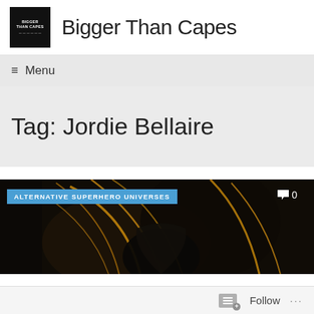Bigger Than Capes
≡ Menu
Tag: Jordie Bellaire
[Figure (photo): Dark comic book image with a figure with golden hair arcs on dark background. Category badge reading 'ALTERNATIVE SUPERHERO UNIVERSES' in blue, comment icon with 0.]
Follow ...